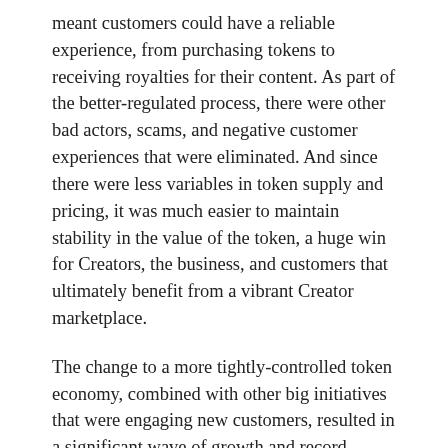meant customers could have a reliable experience, from purchasing tokens to receiving royalties for their content. As part of the better-regulated process, there were other bad actors, scams, and negative customer experiences that were eliminated. And since there were less variables in token supply and pricing, it was much easier to maintain stability in the value of the token, a huge win for Creators, the business, and customers that ultimately benefit from a vibrant Creator marketplace.
The change to a more tightly-controlled token economy, combined with other big initiatives that were engaging new customers, resulted in a significant wave of growth and record results for IMVU's business.
Key Takeaways
Talking to customers is critically important. Don't...